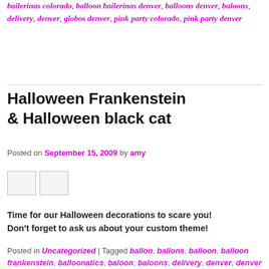bailerinas colorado, balloon bailerinas denver, balloons denver, baloons, delivery, denver, globos denver, pink party colorado, pink party denver
Halloween Frankenstein & Halloween black cat
Posted on September 15, 2009 by amy
[Figure (photo): Two small thumbnail images side by side]
Time for our Halloween decorations to scare you! Don't forget to ask us about your custom theme!
Posted in Uncategorized | Tagged ballon, ballons, balloon, balloon frankenstein, balloonatics, baloon, baloons, delivery, denver, denver balloons, frankenstein, globos denver, globos sculpture, halloween, halloween cat, halloween decorations, halloween party